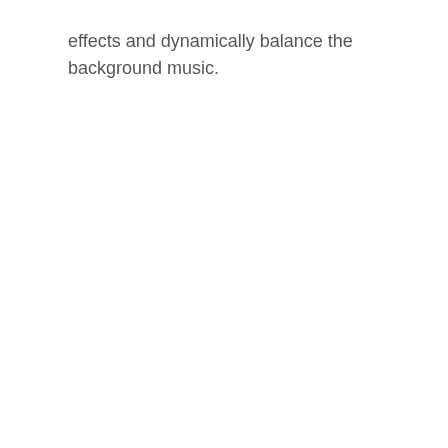effects and dynamically balance the background music.